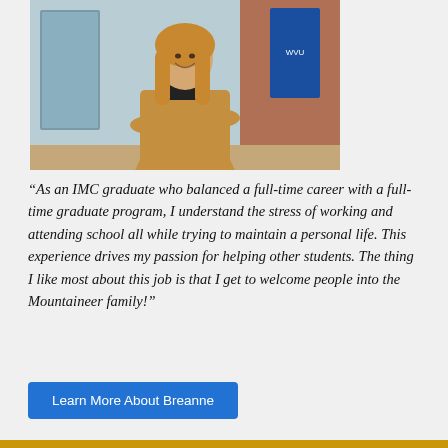[Figure (photo): A smiling woman with long blonde hair, wearing a tan/brown turtleneck sweater with arms crossed, standing in what appears to be a university building interior with blue signage in the background.]
“As an IMC graduate who balanced a full-time career with a full-time graduate program, I understand the stress of working and attending school all while trying to maintain a personal life. This experience drives my passion for helping other students. The thing I like most about this job is that I get to welcome people into the Mountaineer family!”
Learn More About Breanne